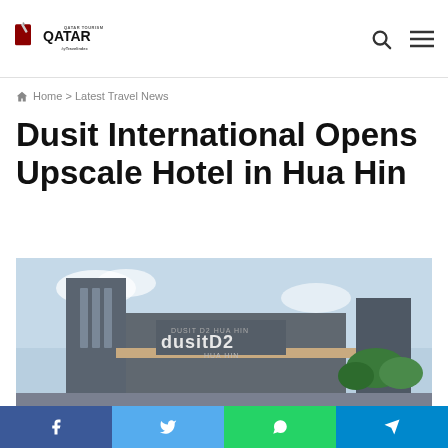Qatar Tourism by Travelindex
Home > Latest Travel News
Dusit International Opens Upscale Hotel in Hua Hin
[Figure (photo): Exterior photo of dusitD2 Hua Hin hotel building, modern architecture with grey facade, blue sky background]
Facebook | Twitter | WhatsApp | Telegram social sharing buttons